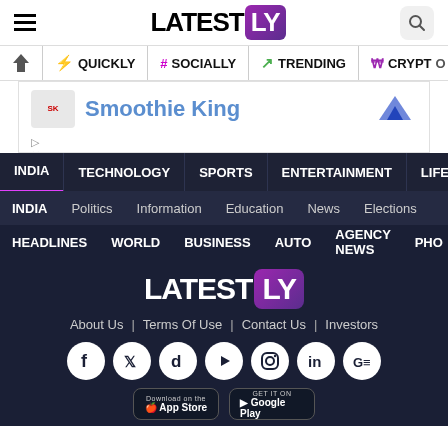LATESTLY - header with hamburger menu, logo, search
QUICKLY | # SOCIALLY | TRENDING | CRYPTO
[Figure (screenshot): Smoothie King advertisement banner]
INDIA | TECHNOLOGY | SPORTS | ENTERTAINMENT | LIFESTYLE
INDIA | Politics | Information | Education | News | Elections
HEADLINES | WORLD | BUSINESS | AUTO | AGENCY NEWS | PHO
[Figure (logo): Latestly logo in footer - white text with purple LY box]
About Us | Terms Of Use | Contact Us | Investors
[Figure (illustration): Social media icons: Facebook, Twitter, Dailyhunt, YouTube, Instagram, LinkedIn, Google News]
[Figure (screenshot): App store download buttons: Download on the App Store and GET IT ON Google Play]